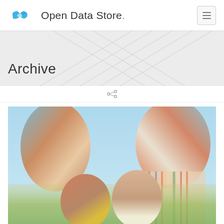[Figure (logo): Open Data Store logo with blue infinity/cloud symbol and text 'Open Data Store.']
Archive
[Figure (photo): Photograph of four smiling children looking down at camera from above, outdoors with blue sky background]